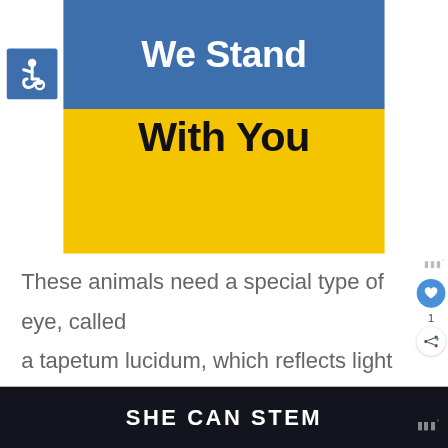[Figure (illustration): Blue and yellow banner with text 'We Stand With You'. Top half is blue with white bold text 'We Stand', bottom half is yellow with black bold text 'With You'.]
[Figure (logo): Blue square with white wheelchair accessibility symbol (ISA icon)]
These animals need a special type of eye, called a tapetum lucidum, which reflects light back through their retina and gives them night vision.
SHE CAN STEM